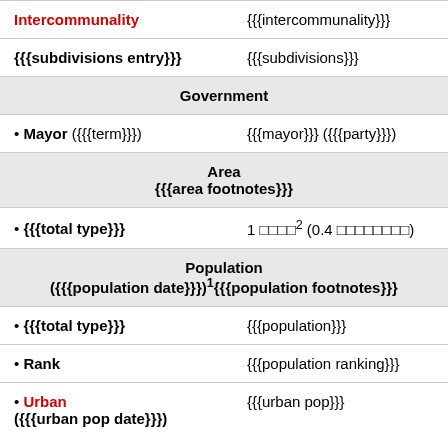| Intercommunality | {{{intercommunality}}} |
| {{{subdivisions entry}}} | {{{subdivisions}}} |
| Government |  |
| • Mayor ({{{term}}}) | {{{mayor}}} ({{{party}}}) |
| Area
{{{area footnotes}}} |  |
| • {{{total type}}} | 1 □□□□2 (0.4 □□□□□□□□) |
| Population
({{{population date}}})1{{{population footnotes}}} |  |
| • {{{total type}}} | {{{population}}} |
| • Rank | {{{population ranking}}} |
| • Urban ({{{urban pop date}}}) | {{{urban pop}}} |